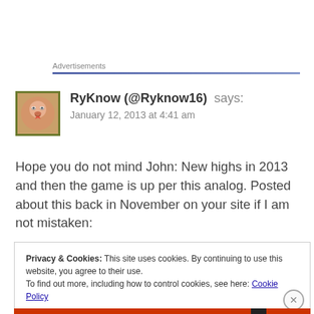Advertisements
RyKnow (@Ryknow16) says:
January 12, 2013 at 4:41 am
Hope you do not mind John: New highs in 2013 and then the game is up per this analog. Posted about this back in November on your site if I am not mistaken:
Privacy & Cookies: This site uses cookies. By continuing to use this website, you agree to their use.
To find out more, including how to control cookies, see here: Cookie Policy
Close and accept